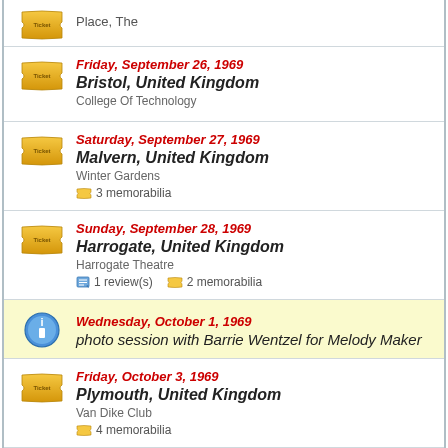Place, The
Friday, September 26, 1969 — Bristol, United Kingdom — College Of Technology
Saturday, September 27, 1969 — Malvern, United Kingdom — Winter Gardens — 3 memorabilia
Sunday, September 28, 1969 — Harrogate, United Kingdom — Harrogate Theatre — 1 review(s) — 2 memorabilia
Wednesday, October 1, 1969 — photo session with Barrie Wentzel for Melody Maker
Friday, October 3, 1969 — Plymouth, United Kingdom — Van Dike Club — 4 memorabilia
Saturday, October 4, 1969